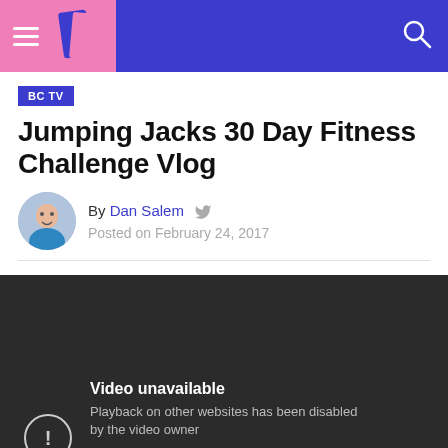BC TV | Jumping Jacks 30 Day Fitness Challenge Vlog
Jumping Jacks 30 Day Fitness Challenge Vlog
By Dan Salem  Posted on February 24, 2017
[Figure (screenshot): Embedded video player showing unavailable state with message: 'Video unavailable. Playback on other websites has been disabled by the video owner. Watch on YouTube.']